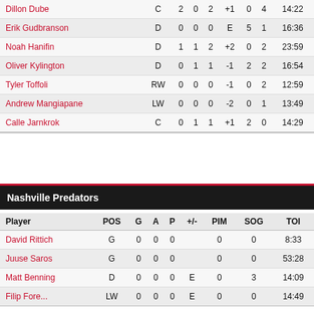| Player | POS | G | A | P | +/- | PIM | SOG | TOI |
| --- | --- | --- | --- | --- | --- | --- | --- | --- |
| Dillon Dube | C | 2 | 0 | 2 | +1 | 0 | 4 | 14:22 |
| Erik Gudbranson | D | 0 | 0 | 0 | E | 5 | 1 | 16:36 |
| Noah Hanifin | D | 1 | 1 | 2 | +2 | 0 | 2 | 23:59 |
| Oliver Kylington | D | 0 | 1 | 1 | -1 | 2 | 2 | 16:54 |
| Tyler Toffoli | RW | 0 | 0 | 0 | -1 | 0 | 2 | 12:59 |
| Andrew Mangiapane | LW | 0 | 0 | 0 | -2 | 0 | 1 | 13:49 |
| Calle Jarnkrok | C | 0 | 1 | 1 | +1 | 2 | 0 | 14:29 |
Nashville Predators
| Player | POS | G | A | P | +/- | PIM | SOG | TOI |
| --- | --- | --- | --- | --- | --- | --- | --- | --- |
| David Rittich | G | 0 | 0 | 0 |  | 0 | 0 | 8:33 |
| Juuse Saros | G | 0 | 0 | 0 |  | 0 | 0 | 53:28 |
| Matt Benning | D | 0 | 0 | 0 | E | 0 | 3 | 14:09 |
| Filip Forsberg | LW | 0 | 0 | 0 | E | 0 | 0 | 14:49 |